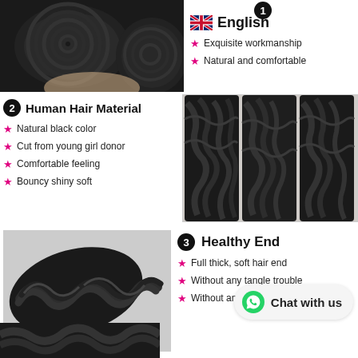[Figure (photo): Close-up photo of black hair bundles/wefts showing reinforced double weft detail]
[Figure (illustration): UK flag icon]
English
Exquisite workmanship
Natural and comfortable
2 Human Hair Material
Natural black color
Cut from young girl donor
Comfortable feeling
Bouncy shiny soft
[Figure (photo): Photo of loose wave black human hair bundles]
[Figure (photo): Photo of loose wave black hair strand]
3 Healthy End
Full thick, soft hair end
Without any tangle trouble
Without any split
Chat with us